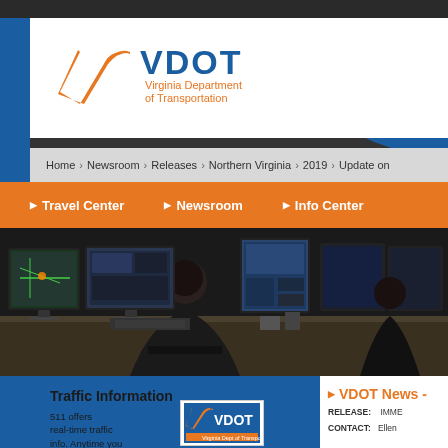[Figure (logo): VDOT Virginia Department of Transportation logo with orange V-checkmark and blue/orange text]
Home > Newsroom > Releases > Northern Virginia > 2019 > Update on
▶ Travel Center  ▶ Newsroom  ▶ Info Center
[Figure (photo): Traffic management center with operators seated at desks with multiple computer monitors showing traffic maps and camera feeds]
Traffic Information
511 offers real-time traffic info. Anytime you need it, anywhere
[Figure (logo): Small VDOT logo]
▶ VDOT News -
RELEASE:   IMME
CONTACT:   Ellen